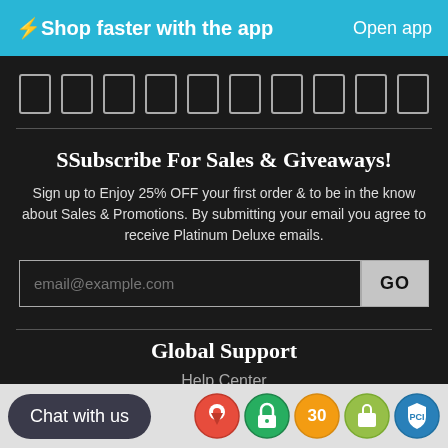⚡ Shop faster with the app   Open app
[Figure (illustration): Row of 10 icon boxes (outlined rectangles)]
SSubscribe For Sales & Giveaways!
Sign up to Enjoy 25% OFF your first order & to be in the know about Sales & Promotions. By submitting your email you agree to receive Platinum Deluxe emails.
email@example.com   GO
Global Support
Help Center
Careers
Influencer Program
Chat with us
[Figure (illustration): Row of merchant/trust badge icons: Google Maps pin, green padlock, yellow 30-day badge, Shopify bag, PCI compliance shield]